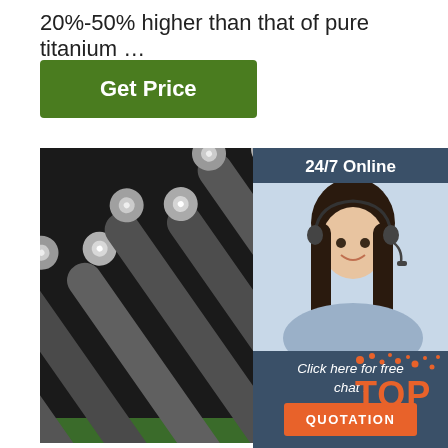20%-50% higher than that of pure titanium …
[Figure (other): Green button labeled 'Get Price']
[Figure (photo): Close-up photo of multiple metallic titanium or steel rods arranged diagonally, showing their circular cross-sections and metallic surfaces.]
[Figure (other): Sidebar widget with '24/7 Online' label, photo of customer support agent wearing headset, 'Click here for free chat !' text, and orange QUOTATION button.]
[Figure (other): Orange 'TOP' badge with decorative dots in bottom right corner.]